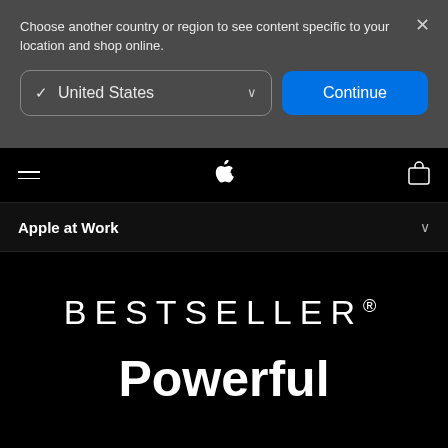Choose another country or region to see content specific to your location and shop online.
✓  United States
Continue
[Figure (screenshot): Apple website navigation bar with hamburger menu, Apple logo, and bag icon on black background]
Apple at Work
BESTSELLER®
Powerful